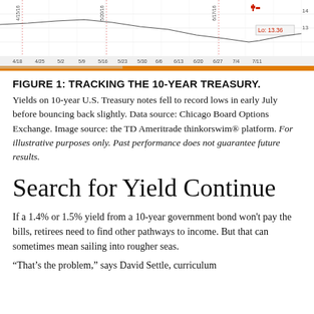[Figure (screenshot): Screenshot of a financial chart showing 10-year U.S. Treasury yield with date axis from 4/18 to 7/11, with toolbar controls and orange navigation bar at bottom. Label 'Lo: 13.36' visible.]
FIGURE 1: TRACKING THE 10-YEAR TREASURY.
Yields on 10-year U.S. Treasury notes fell to record lows in early July before bouncing back slightly. Data source: Chicago Board Options Exchange. Image source: the TD Ameritrade thinkorswim® platform. For illustrative purposes only. Past performance does not guarantee future results.
Search for Yield Continue
If a 1.4% or 1.5% yield from a 10-year government bond won't pay the bills, retirees need to find other pathways to income. But that can sometimes mean sailing into rougher seas.
“That’s the problem,” says David Settle, curriculum